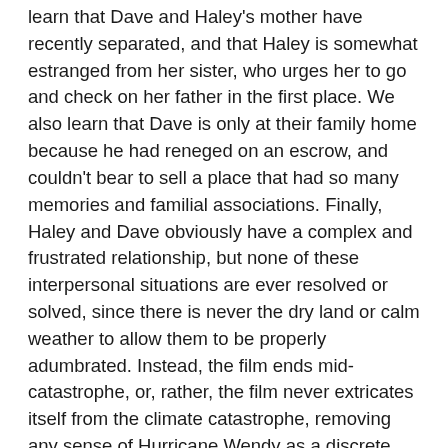learn that Dave and Haley's mother have recently separated, and that Haley is somewhat estranged from her sister, who urges her to go and check on her father in the first place. We also learn that Dave is only at their family home because he had reneged on an escrow, and couldn't bear to sell a place that had so many memories and familial associations. Finally, Haley and Dave obviously have a complex and frustrated relationship, but none of these interpersonal situations are ever resolved or solved, since there is never the dry land or calm weather to allow them to be properly adumbrated. Instead, the film ends mid-catastrophe, or, rather, the film never extricates itself from the climate catastrophe, removing any sense of Hurricane Wendy as a discrete event, and instead embedding it within a broader sense of escalating planetary chaos. It is that planetary reach, which has become so much harder for a mainstream film to capture in the wake of the MCU, that makes Crawl so unsettling and prescient – a vision of the human body, crawling and abject,